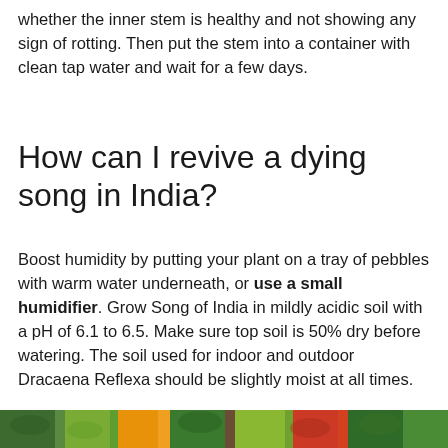whether the inner stem is healthy and not showing any sign of rotting. Then put the stem into a container with clean tap water and wait for a few days.
How can I revive a dying song in India?
Boost humidity by putting your plant on a tray of pebbles with warm water underneath, or use a small humidifier. Grow Song of India in mildly acidic soil with a pH of 6.1 to 6.5. Make sure top soil is 50% dry before watering. The soil used for indoor and outdoor Dracaena Reflexa should be slightly moist at all times.
[Figure (photo): Colorful image strip showing plants/foliage at the bottom of the page]